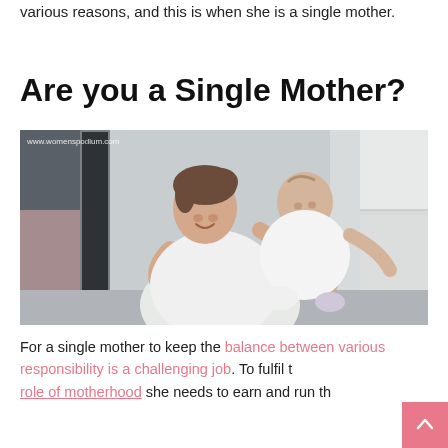various reasons, and this is when she is a single mother.
Are you a Single Mother?
[Figure (photo): A smiling young woman holding a happy baby/toddler dressed in white, in an indoor setting. Watermark reads www.womenspodium.com]
For a single mother to keep the balance between various responsibility is a challenging job. To fulfil the role of motherhood she needs to earn and run th...